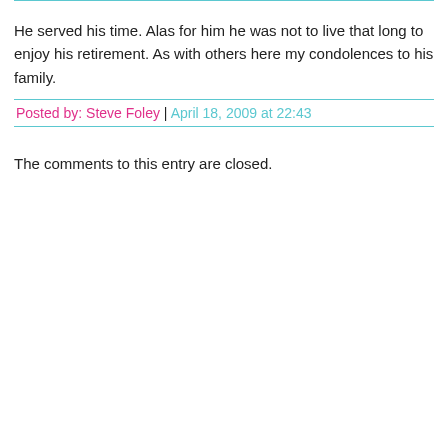He served his time. Alas for him he was not to live that long to enjoy his retirement. As with others here my condolences to his family.
Posted by: Steve Foley | April 18, 2009 at 22:43
The comments to this entry are closed.